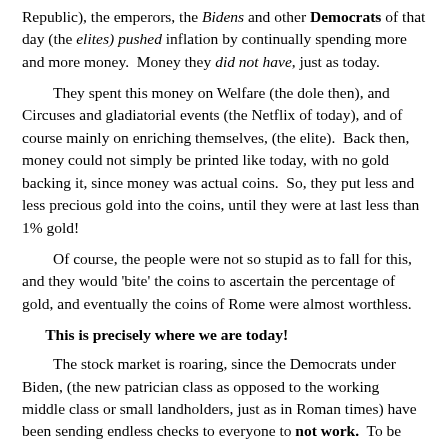Republic), the emperors, the Bidens and other Democrats of that day (the elites) pushed inflation by continually spending more and more money.  Money they did not have, just as today.
They spent this money on Welfare (the dole then), and Circuses and gladiatorial events (the Netflix of today), and of course mainly on enriching themselves, (the elite).  Back then, money could not simply be printed like today, with no gold backing it, since money was actual coins.  So, they put less and less precious gold into the coins, until they were at last less than 1% gold!
Of course, the people were not so stupid as to fall for this, and they would 'bite' the coins to ascertain the percentage of gold, and eventually the coins of Rome were almost worthless.
This is precisely where we are today!
The stock market is roaring, since the Democrats under Biden, (the new patrician class as opposed to the working middle class or small landholders, just as in Roman times) have been sending endless checks to everyone to not work.  To be bribed into becoming serfs, people supported by the government on the Dole of our times, who take no responsibility for themselves, their families, or their own communities.